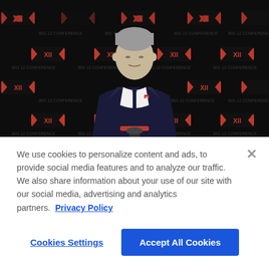[Figure (photo): A man in a dark suit with a tie stands at a podium with microphones in front of a Big 12 Conference branded backdrop with repeating red and white logos on a black background.]
We use cookies to personalize content and ads, to provide social media features and to analyze our traffic. We also share information about your use of our site with our social media, advertising and analytics partners.  Privacy Policy
Cookies Settings
Accept All Cookies